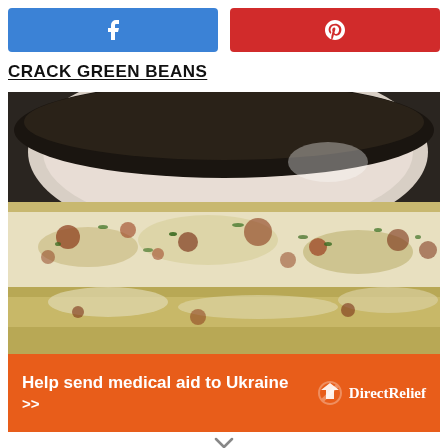[Figure (other): Social share buttons: Facebook (blue) and Pinterest (red)]
CRACK GREEN BEANS
[Figure (photo): Close-up photo of corn on the cob covered in white cheese, herbs, and spices, served on a plate — elote-style corn]
Help send medical aid to Ukraine >>  DirectRelief